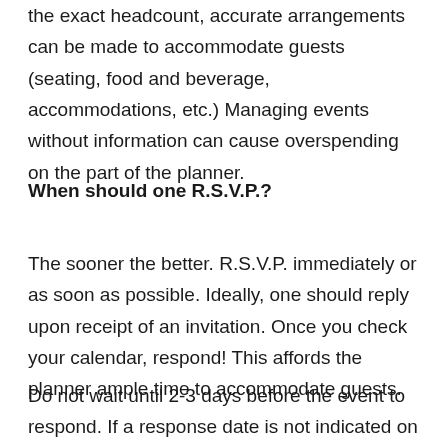the exact headcount, accurate arrangements can be made to accommodate guests (seating, food and beverage, accommodations, etc.)  Managing events without information can cause overspending on the part of the planner.
When should one R.S.V.P.?
The sooner the better.  R.S.V.P. immediately or as soon as possible.  Ideally, one should reply upon receipt of an invitation.  Once you check your calendar, respond!  This affords the planner ample time to accommodate guests.
Do not wait until 2-3 days before the event to respond.  If a response date is not indicated on the invitation, at